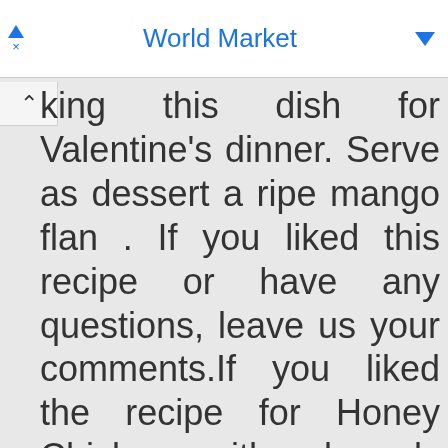World Market
king this dish for Valentine's dinner. Serve as dessert a ripe mango flan . If you liked this recipe or have any questions, leave us your comments.If you liked the recipe for Honey Chicken with almonds and cinnamon ,